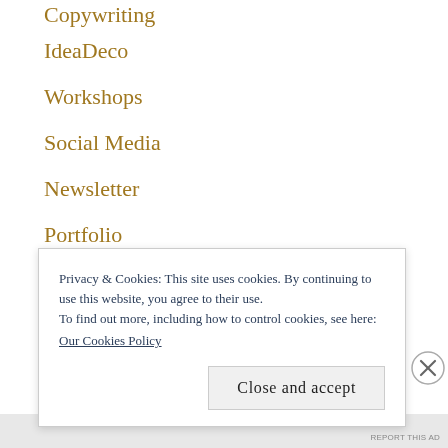Copywriting
IdeaDeco
Workshops
Social Media
Newsletter
Portfolio
Privacy & Cookies: This site uses cookies. By continuing to use this website, you agree to their use.
To find out more, including how to control cookies, see here:
Our Cookies Policy
Close and accept
REPORT THIS AD